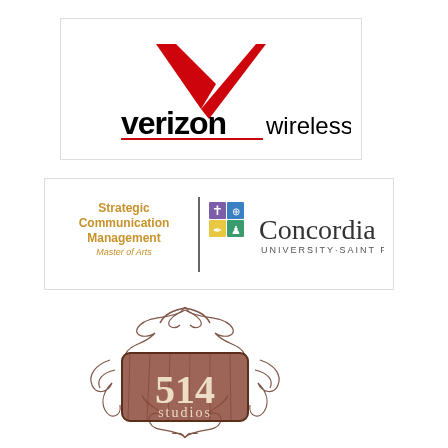[Figure (logo): Verizon Wireless logo with red checkmark swoosh above bold black 'verizon' and lighter 'wireless' text]
[Figure (logo): Concordia University Saint Paul logo with Strategic Communication Management Master of Arts text in gold, shield icon, and Concordia University Saint Paul wordmark]
[Figure (logo): 514 Studios logo with ornate brown/sepia decorative floral border and number 514 with 'studios' text in a rustic sign style]